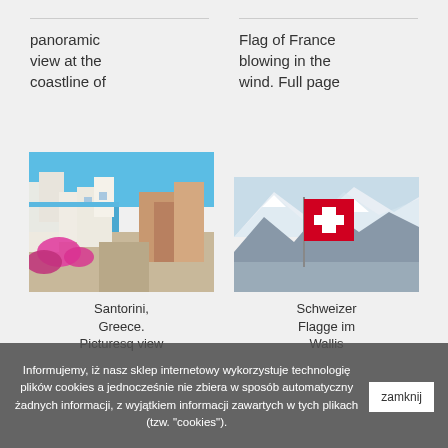panoramic view at the coastline of
Flag of France blowing in the wind. Full page
[Figure (photo): Santorini Greece panoramic view with white buildings, colorful flowers, and blue sea]
Santorini, Greece. Picturesq view
[Figure (photo): Schweizer Flagge im Wallis - Swiss flag in the mountains with snow-capped peaks]
Schweizer Flagge im Wallis
Informujemy, iż nasz sklep internetowy wykorzystuje technologię plików cookies a jednocześnie nie zbiera w sposób automatyczny żadnych informacji, z wyjątkiem informacji zawartych w tych plikach (tzw. "cookies").
zamknij